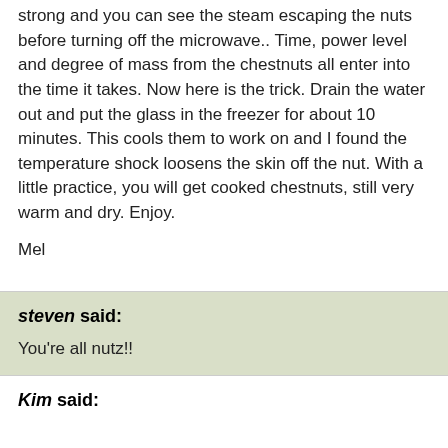strong and you can see the steam escaping the nuts before turning off the microwave.. Time, power level and degree of mass from the chestnuts all enter into the time it takes. Now here is the trick. Drain the water out and put the glass in the freezer for about 10 minutes. This cools them to work on and I found the temperature shock loosens the skin off the nut. With a little practice, you will get cooked chestnuts, still very warm and dry. Enjoy.
Mel
steven said:
You're all nutz!!
Kim said: